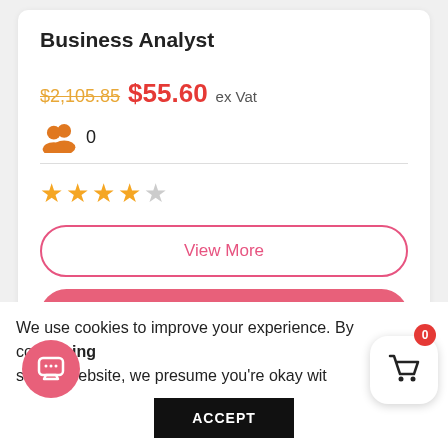Business Analyst
$2,105.85 $55.60 ex Vat
0
★★★★☆
View More
Add to Cart
We use cookies to improve your experience. By continuing to use this website, we presume you're okay with
ACCEPT